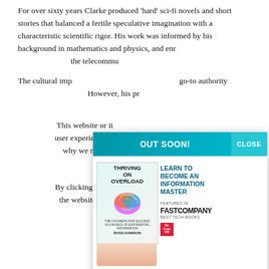For over sixty years Clarke produced 'hard' sci-fi novels and short stories that balanced a fertile speculative imagination with a characteristic scientific rigor. His work was informed by his background in mathematics and physics, and enriched by his familiarity with the telecommunications industry.
The cultural impact of Clarke's work made him a go-to authority on the future of technology. However, his predictions were not always accurate.
This website or its third-party tools use cookies, which are necessary for its functioning and required to achieve the purposes illustrated in the cookie policy. You understand why we need to use cookies by viewing our.
By clicking the agree button, closing this banner, scrolling this page or clicking any element on the website, you consent to the use of cookies.
[Figure (infographic): A popup advertisement modal for the book 'Thriving on Overload' by Ross Dawson. Header bar in teal reads 'OUT SOON!' with a 'CLOSE' button on the right. The main body shows the book cover (featuring a colorful brain graphic) being held by a hand, and on the right side text reads 'LEARN TO BECOME AN INFORMATION MASTER'. Below that is a 'FEATURED IN FastCompany BEST TECH BOOKS' section with McGraw Hill logo. Footer shows website 'thrivingonoverload.com' and 'Click to learn more!' link.]